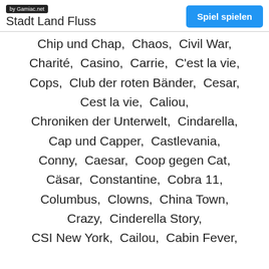by Gamiac.net | Stadt Land Fluss | Spiel spielen
Chip und Chap,  Chaos,  Civil War,  Charité,  Casino,  Carrie,  C'est la vie,  Cops,  Club der roten Bänder,  Cesar,  Cest la vie,  Caliou,  Chroniken der Unterwelt,  Cindarella,  Cap und Capper,  Castlevania,  Conny,  Caesar,  Coop gegen Cat,  Cäsar,  Constantine,  Cobra 11,  Columbus,  Clowns,  China Town,  Crazy,  Cinderella Story,  CSI New York,  Cailou,  Cabin Fever,